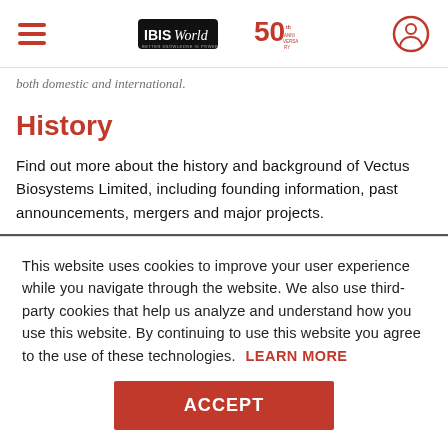IBISWorld 50th Anniversary
both domestic and international.
History
Find out more about the history and background of Vectus Biosystems Limited, including founding information, past announcements, mergers and major projects.
This website uses cookies to improve your user experience while you navigate through the website. We also use third-party cookies that help us analyze and understand how you use this website. By continuing to use this website you agree to the use of these technologies. LEARN MORE
ACCEPT